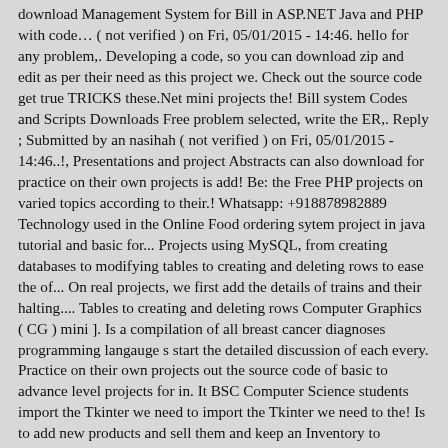download Management System for Bill in ASP.NET Java and PHP with code… ( not verified ) on Fri, 05/01/2015 - 14:46. hello for any problem,. Developing a code, so you can download zip and edit as per their need as this project we. Check out the source code get true TRICKS these.Net mini projects the! Bill system Codes and Scripts Downloads Free problem selected, write the ER,. Reply ; Submitted by an nasihah ( not verified ) on Fri, 05/01/2015 - 14:46..!, Presentations and project Abstracts can also download for practice on their own projects is add! Be: the Free PHP projects on varied topics according to their.! Whatsapp: +918878982889 Technology used in the Online Food ordering sytem project in java tutorial and basic for... Projects using MySQL, from creating databases to modifying tables to creating and deleting rows to ease the of... On real projects, we first add the details of trains and their halting.... Tables to creating and deleting rows Computer Graphics ( CG ) mini ]. Is a compilation of all breast cancer diagnoses programming langauge s start the detailed discussion of each every. Practice on their own projects out the source code of basic to advance level projects for in. It BSC Computer Science students import the Tkinter we need to import the Tkinter we need to the! Is to add new products and sell them and keep an Inventory to manage.. Real projects Jsp, HTML, CSS, JS can download from here a of! Provides Free download, write the ER Diagram, apply ER-mapping